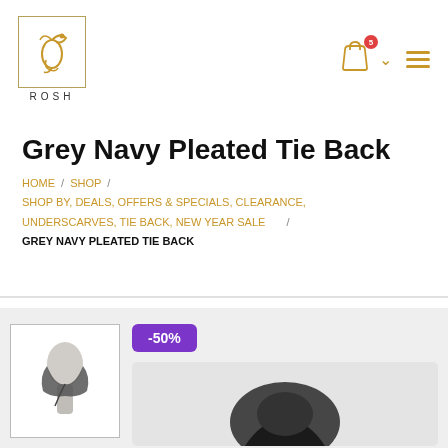[Figure (logo): ROSH brand logo with Arabic calligraphy in gold inside a bordered box, with 'ROSH' text below]
[Figure (illustration): Shopping cart icon with red badge showing notification count, chevron arrow, and hamburger menu icon in gold]
Grey Navy Pleated Tie Back
HOME / SHOP / SHOP BY, DEALS, OFFERS & SPECIALS, CLEARANCE, UNDERSCARVES, TIE BACK, NEW YEAR SALE / GREY NAVY PLEATED TIE BACK
[Figure (photo): Thumbnail image of grey navy pleated tie back headscarf on mannequin head]
-50%
[Figure (photo): Larger product image of grey navy pleated tie back on mannequin, partially visible]